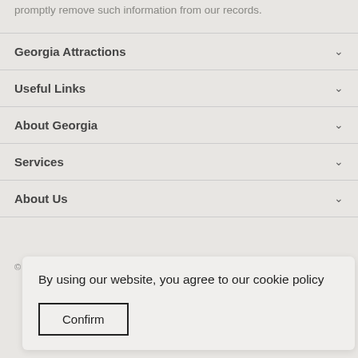promptly remove such information from our records.
Georgia Attractions
Useful Links
About Georgia
Services
About Us
By using our website, you agree to our cookie policy
Confirm